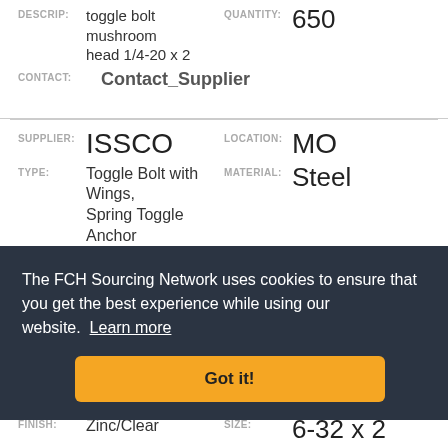DESCRIP: toggle bolt mushroom head 1/4-20 x 2  QUANTITY: 650
CONTACT: Contact_Supplier
SUPPLIER: ISSCO  LOCATION: MO
TYPE: Toggle Bolt with Wings, Spring Toggle Anchor  MATERIAL: Steel
FINISH: Zinc/Clear  SIZE: 1/4-20 x 4
DESCRIP: toggle bolt flat head  QUANTITY: 350
The FCH Sourcing Network uses cookies to ensure that you get the best experience while using our website. Learn more
Got it!
FINISH: Zinc/Clear  SIZE: 6-32 x 2